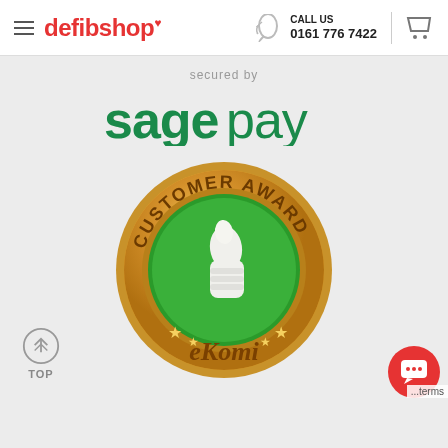defibshop | CALL US 0161 776 7422
secured by
[Figure (logo): Sage Pay logo in green text reading 'sage pay']
[Figure (logo): eKomi Customer Award gold medal badge with thumbs up and green center]
TOP
[Figure (logo): Red circular chat button icon]